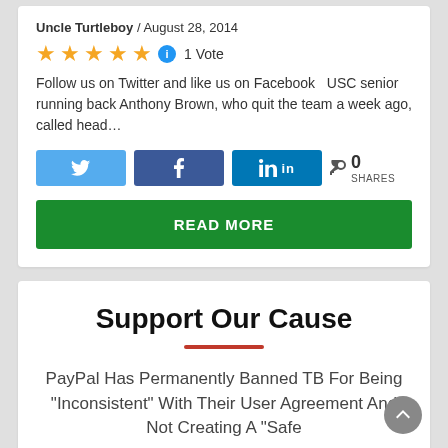Uncle Turtleboy / August 28, 2014
★★★★★ ⓘ 1 Vote
Follow us on Twitter and like us on Facebook   USC senior running back Anthony Brown, who quit the team a week ago, called head…
[Figure (other): Social share buttons: Twitter (blue), Facebook (dark blue), LinkedIn (dark blue), and share count showing 0 SHARES]
READ MORE
Support Our Cause
PayPal Has Permanently Banned TB For Being "Inconsistent" With Their User Agreement And Not Creating A "Safe